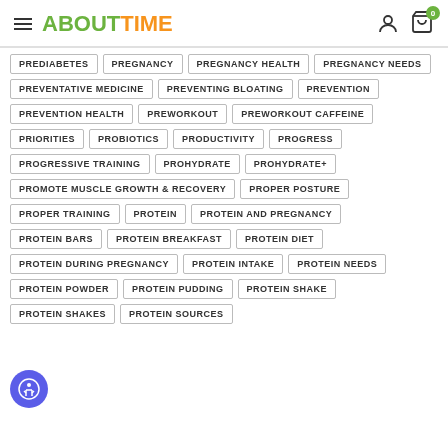ABOUTTIME
PREDIABETES
PREGNANCY
PREGNANCY HEALTH
PREGNANCY NEEDS
PREVENTATIVE MEDICINE
PREVENTING BLOATING
PREVENTION
PREVENTION HEALTH
PREWORKOUT
PREWORKOUT CAFFEINE
PRIORITIES
PROBIOTICS
PRODUCTIVITY
PROGRESS
PROGRESSIVE TRAINING
PROHYDRATE
PROHYDRATE+
PROMOTE MUSCLE GROWTH & RECOVERY
PROPER POSTURE
PROPER TRAINING
PROTEIN
PROTEIN AND PREGNANCY
PROTEIN BARS
PROTEIN BREAKFAST
PROTEIN DIET
PROTEIN DURING PREGNANCY
PROTEIN INTAKE
PROTEIN NEEDS
PROTEIN POWDER
PROTEIN PUDDING
PROTEIN SHAKE
PROTEIN SHAKES
PROTEIN SOURCES